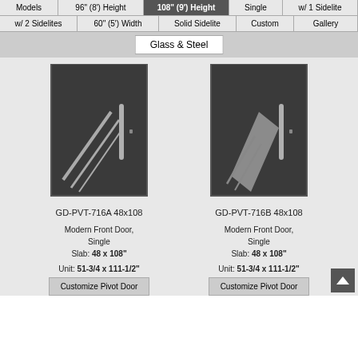Models | 96" (8') Height | 108" (9') Height | Single | w/ 1 Sidelite | w/ 2 Sidelites | 60" (5') Width | Solid Sidelite | Custom | Gallery
Glass & Steel
[Figure (photo): Dark steel pivot door GD-PVT-716A with diagonal metallic stripe accents and vertical handle]
GD-PVT-716A 48x108
Modern Front Door, Single
Slab: 48 x 108"
Unit: 51-3/4 x 111-1/2"
[Figure (photo): Dark steel pivot door GD-PVT-716B with diagonal glass panel and vertical handle]
GD-PVT-716B 48x108
Modern Front Door, Single
Slab: 48 x 108"
Unit: 51-3/4 x 111-1/2"